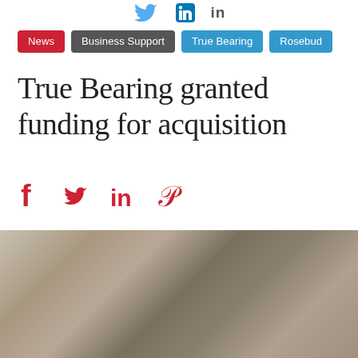[Figure (other): Twitter and LinkedIn social icons at top of page]
News | Business Support | True Bearing | Rosebud
True Bearing granted funding for acquisition
Social share icons: Facebook, Twitter, LinkedIn, Pinterest
[Figure (photo): Blurred photograph, appears to show people or objects, used as article header image]